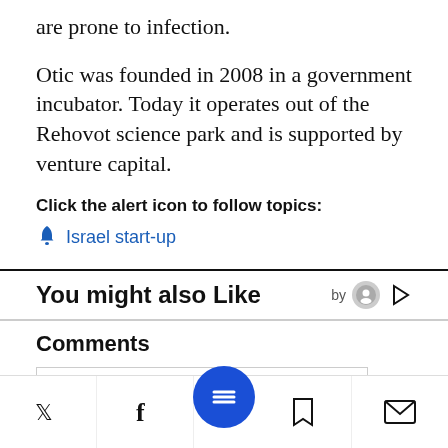are prone to infection.
Otic was founded in 2008 in a government incubator. Today it operates out of the Rehovot science park and is supported by venture capital.
Click the alert icon to follow topics:
🔔 Israel start-up
You might also Like
Comments